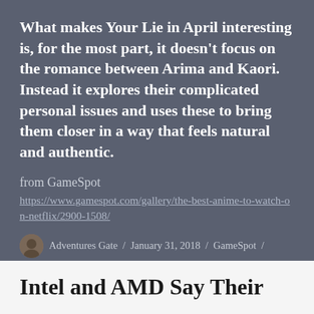What makes Your Lie in April interesting is, for the most part, it doesn't focus on the romance between Arima and Kaori. Instead it explores their complicated personal issues and uses these to bring them closer in a way that feels natural and authentic.
from GameSpot
https://www.gamespot.com/gallery/the-best-anime-to-watch-on-netflix/2900-1508/
Adventures Gate / January 31, 2018 / GameSpot / Leave a comment
Intel and AMD Say Their